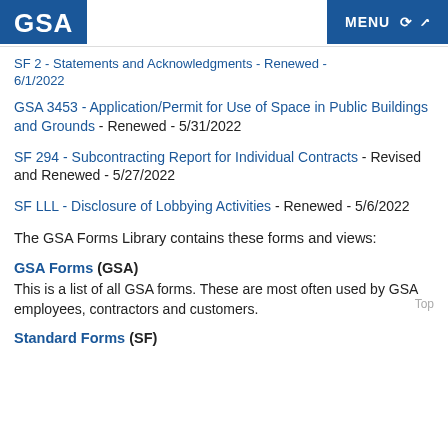GSA | MENU
SF 2 - Statements and Acknowledgments - Renewed - 6/1/2022
GSA 3453 - Application/Permit for Use of Space in Public Buildings and Grounds - Renewed - 5/31/2022
SF 294 - Subcontracting Report for Individual Contracts - Revised and Renewed - 5/27/2022
SF LLL - Disclosure of Lobbying Activities - Renewed - 5/6/2022
The GSA Forms Library contains these forms and views:
GSA Forms (GSA)
This is a list of all GSA forms. These are most often used by GSA employees, contractors and customers.
Standard Forms (SF)